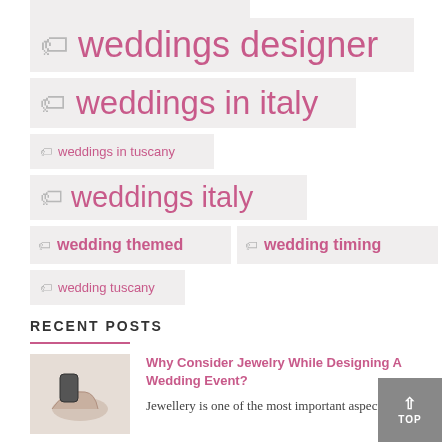weddings designer
weddings in italy
weddings in tuscany
weddings italy
wedding themed
wedding timing
wedding tuscany
RECENT POSTS
Why Consider Jewelry While Designing A Wedding Event?
Jewellery is one of the most important aspects ...